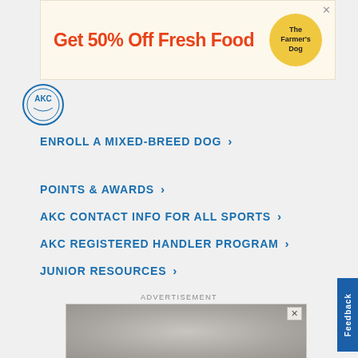[Figure (other): Advertisement banner: 'Get 50% Off Fresh Food' with The Farmer's Dog logo]
[Figure (logo): AKC circular logo]
ENROLL A MIXED-BREED DOG
POINTS & AWARDS
AKC CONTACT INFO FOR ALL SPORTS
AKC REGISTERED HANDLER PROGRAM
JUNIOR RESOURCES
ADVERTISEMENT
[Figure (photo): Advertisement photo showing a dog being bathed or groomed]